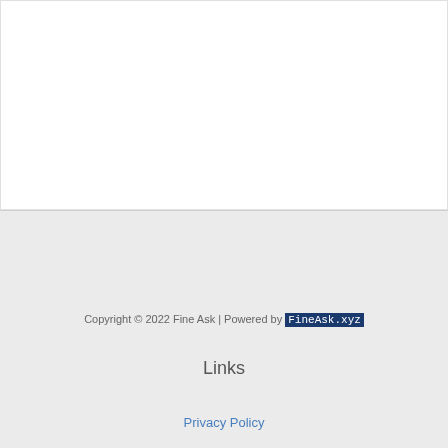Copyright © 2022 Fine Ask | Powered by FineAsk.xyz
Links
Privacy Policy